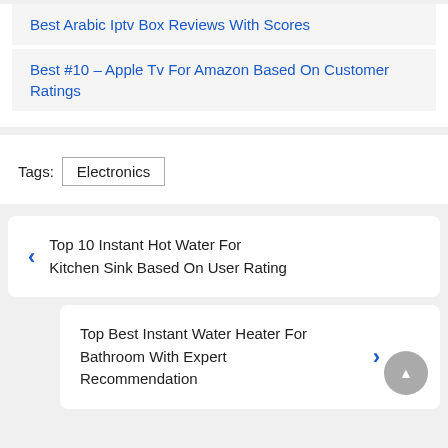Best Arabic Iptv Box Reviews With Scores
Best #10 – Apple Tv For Amazon Based On Customer Ratings
Tags: Electronics
‹ Top 10 Instant Hot Water For Kitchen Sink Based On User Rating
Top Best Instant Water Heater For Bathroom With Expert Recommendation ›